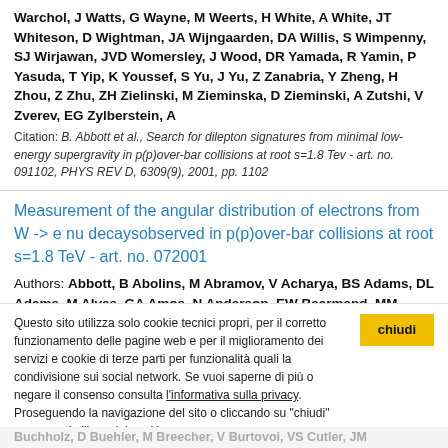Warchol, J Watts, G Wayne, M Weerts, H White, A White, JT Whiteson, D Wightman, JA Wijngaarden, DA Willis, S Wimpenny, SJ Wirjawan, JVD Womersley, J Wood, DR Yamada, R Yamin, P Yasuda, T Yip, K Youssef, S Yu, J Yu, Z Zanabria, Y Zheng, H Zhou, Z Zhu, ZH Zielinski, M Zieminska, D Zieminski, A Zutshi, V Zverev, EG Zylberstein, A
Citation: B. Abbott et al., Search for dilepton signatures from minimal low-energy supergravity in p(p)over-bar collisions at root s=1.8 Tev - art. no. 091102, PHYS REV D, 6309(9), 2001, pp. 1102
Measurement of the angular distribution of electrons from W -> e nu decaysobserved in p(p)over-bar collisions at root s=1.8 TeV - art. no. 072001
Authors: Abbott, B Abolins, M Abramov, V Acharya, BS Adams, DL Adams, M Alves, GA Amos, N Anderson, EW Baarmand, MM Babintsev, VV Babukhadia, L Baden, A Baldin, B Balm, PW
Banerjee, S Bantly, J Barbaris, E Bartlett, JE Bäckler, U ... G Bott... M ...
Questo sito utilizza solo cookie tecnici propri, per il corretto funzionamento delle pagine web e per il miglioramento dei servizi e cookie di terze parti per funzionalità quali la condivisione sui social network. Se vuoi saperne di più o negare il consenso consulta l'informativa sulla privacy. Proseguendo la navigazione del sito o cliccando su "chiudi" acconsenti all'uso dei cookie.
Buchholz, D Buehler, M Breecher, V Burtovoi, VS Cutler, JM